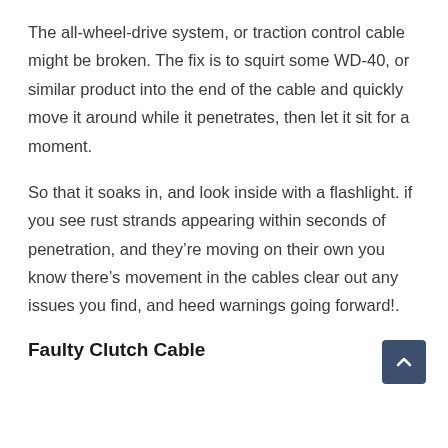The all-wheel-drive system, or traction control cable might be broken. The fix is to squirt some WD-40, or similar product into the end of the cable and quickly move it around while it penetrates, then let it sit for a moment.
So that it soaks in, and look inside with a flashlight. if you see rust strands appearing within seconds of penetration, and they’re moving on their own you know there’s movement in the cables clear out any issues you find, and heed warnings going forward!.
Faulty Clutch Cable